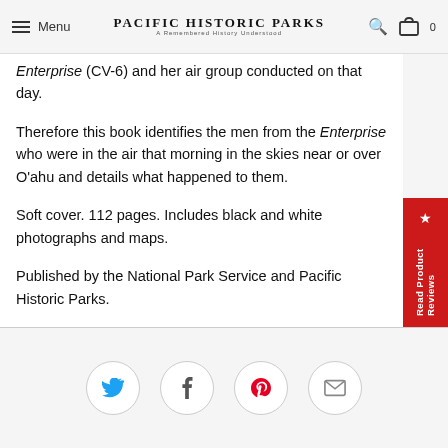Menu | PACIFIC HISTORIC PARKS
Enterprise (CV-6) and her air group conducted on that day.
Therefore this book identifies the men from the Enterprise who were in the air that morning in the skies near or over O'ahu and details what happened to them.
Soft cover. 112 pages. Includes black and white photographs and maps.
Published by the National Park Service and Pacific Historic Parks.
[Figure (infographic): Red vertical tab on right side with star icon and text 'Read Product Reviews']
[Figure (infographic): Social sharing icons: Twitter (blue bird), Facebook (f), Pinterest (p), Email (envelope) - each in a circle outline]